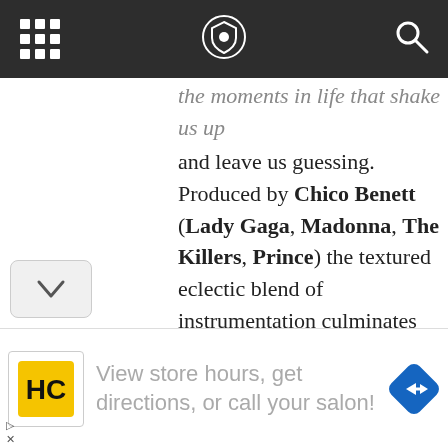[navigation bar with grid icon, shield logo, search icon]
the moments in life that shake us up and leave us guessing. Produced by Chico Benett (Lady Gaga, Madonna, The Killers, Prince) the textured eclectic blend of instrumentation culminates into a perfect blend of romantic Hollywood angst and soulful reckoning for a song about embracing one's inner journey. Today, May takes a detour into the weeds with my absurd questions. Let's see
View store hours, get directions, or call your salon!